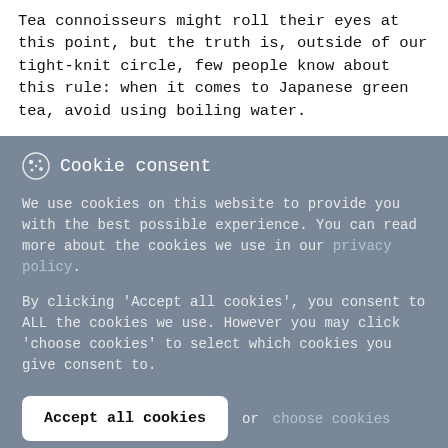Tea connoisseurs might roll their eyes at this point, but the truth is, outside of our tight-knit circle, few people know about this rule: when it comes to Japanese green tea, avoid using boiling water.
Cookie consent
We use cookies on this website to provide you with the best possible experience. You can read more about the cookies we use in our privacy policy.
By clicking 'Accept all cookies', you consent to ALL the cookies we use. However you may click 'choose cookies' to select which cookies you give consent to.
Accept all cookies or choose cookies